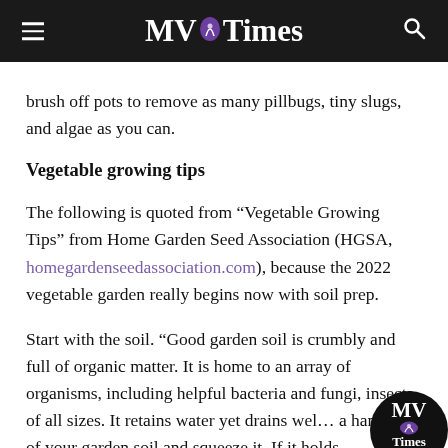MV Times
brush off pots to remove as many pillbugs, tiny slugs, and algae as you can.
Vegetable growing tips
The following is quoted from “Vegetable Growing Tips” from Home Garden Seed Association (HGSA, homegardenseedassociation.com), because the 2022 vegetable garden really begins now with soil prep.
Start with the soil. “Good garden soil is crumbly and full of organic matter. It is home to an array of organisms, including helpful bacteria and fungi, insects of all sizes. It retains water yet drains well a handful of your garden soil and squeeze it. If it holds